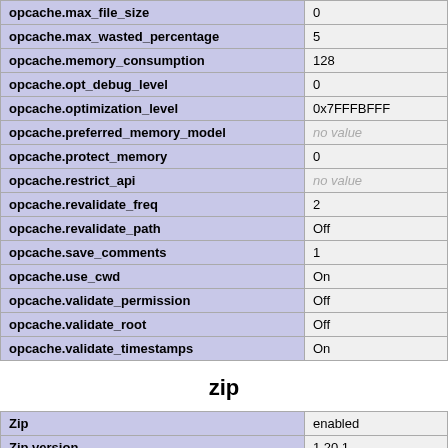| Directive | Value |
| --- | --- |
| opcache.max_file_size | 0 |
| opcache.max_wasted_percentage | 5 |
| opcache.memory_consumption | 128 |
| opcache.opt_debug_level | 0 |
| opcache.optimization_level | 0x7FFFBFFF |
| opcache.preferred_memory_model | no value |
| opcache.protect_memory | 0 |
| opcache.restrict_api | no value |
| opcache.revalidate_freq | 2 |
| opcache.revalidate_path | Off |
| opcache.save_comments | 1 |
| opcache.use_cwd | On |
| opcache.validate_permission | Off |
| opcache.validate_root | Off |
| opcache.validate_timestamps | On |
zip
| Directive | Value |
| --- | --- |
| Zip | enabled |
| Zip version | 1.20.1 |